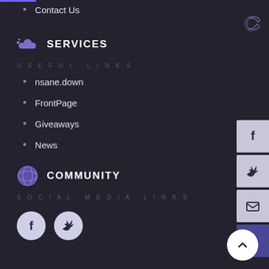Contact Us
SERVICES
USEFUL LINKS
nsane.down
FrontPage
Giveaways
News
COMMUNITY
SOCIAL MEDIA LINKS
[Figure (illustration): Social media icons: Facebook and Twitter circular buttons]
[Figure (illustration): Right side floating share buttons: Facebook, Twitter, Email icons, and an arrow button]
[Figure (illustration): Scroll to top circular white button with upward chevron]